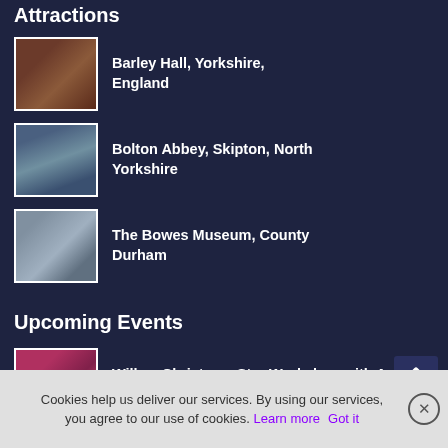Attractions
Barley Hall, Yorkshire, England
Bolton Abbey, Skipton, North Yorkshire
The Bowes Museum, County Durham
Upcoming Events
Willow Christmas Star Workshop with Anna & the Willow
Willow Christmas Star Workshop with Anna & the Willow
Apple Harvest
Cookies help us deliver our services. By using our services, you agree to our use of cookies. Learn more   Got it